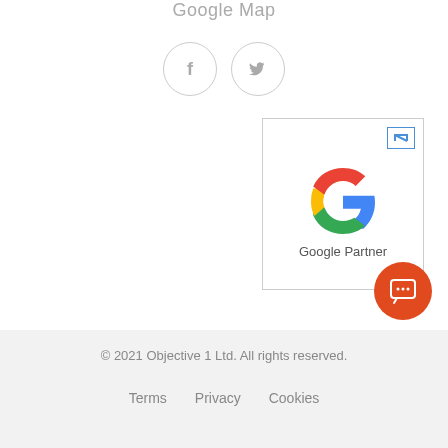Google Map
[Figure (illustration): Two circular social media icons: Facebook (f) and Twitter (bird), with light gray borders on white background]
[Figure (logo): Google Partner badge in a bordered box with the colorful Google G logo and text 'Google Partner' below it, plus an external link icon in top-right corner]
[Figure (illustration): Orange circular chat button with speech bubble and ellipsis icon]
© 2021 Objective 1 Ltd. All rights reserved.
Terms   Privacy   Cookies